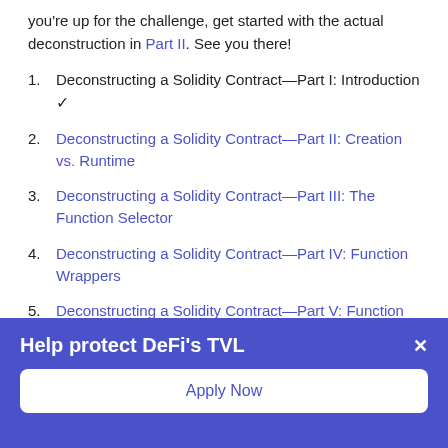you're up for the challenge, get started with the actual deconstruction in Part II. See you there!
1. Deconstructing a Solidity Contract—Part I: Introduction ✓
2. Deconstructing a Solidity Contract—Part II: Creation vs. Runtime
3. Deconstructing a Solidity Contract—Part III: The Function Selector
4. Deconstructing a Solidity Contract—Part IV: Function Wrappers
5. Deconstructing a Solidity Contract—Part V: Function Bodies
Help protect DeFi's TVL
Apply Now